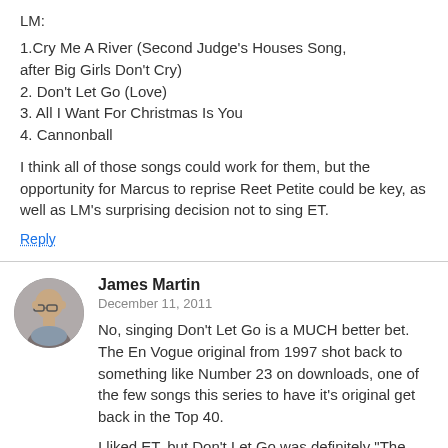LM:
1.Cry Me A River (Second Judge's Houses Song, after Big Girls Don't Cry)
2. Don't Let Go (Love)
3. All I Want For Christmas Is You
4. Cannonball
I think all of those songs could work for them, but the opportunity for Marcus to reprise Reet Petite could be key, as well as LM's surprising decision not to sing ET.
Reply
James Martin
December 11, 2011
No, singing Don't Let Go is a MUCH better bet. The En Vogue original from 1997 shot back to something like Number 23 on downloads, one of the few songs this series to have it's original get back in the Top 40.
I liked ET, but Don't Let Go was definitely "The Moment" for me.